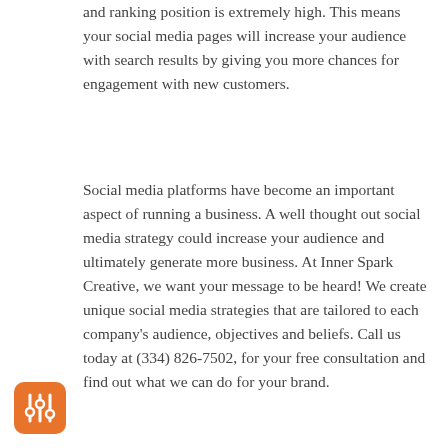and ranking position is extremely high. This means your social media pages will increase your audience with search results by giving you more chances for engagement with new customers.
Social media platforms have become an important aspect of running a business. A well thought out social media strategy could increase your audience and ultimately generate more business. At Inner Spark Creative, we want your message to be heard! We create unique social media strategies that are tailored to each company's audience, objectives and beliefs. Call us today at (334) 826-7502, for your free consultation and find out what we can do for your brand.
[Figure (logo): Orange rounded square icon with a sliders/settings symbol (three vertical lines with circular adjustment knobs) in white]